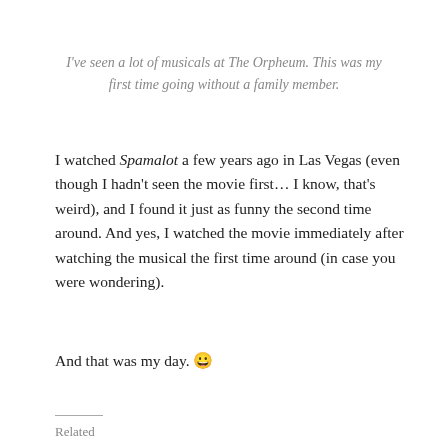I've seen a lot of musicals at The Orpheum. This was my first time going without a family member.
I watched Spamalot a few years ago in Las Vegas (even though I hadn't seen the movie first... I know, that's weird), and I found it just as funny the second time around. And yes, I watched the movie immediately after watching the musical the first time around (in case you were wondering).
And that was my day. 😀
Related